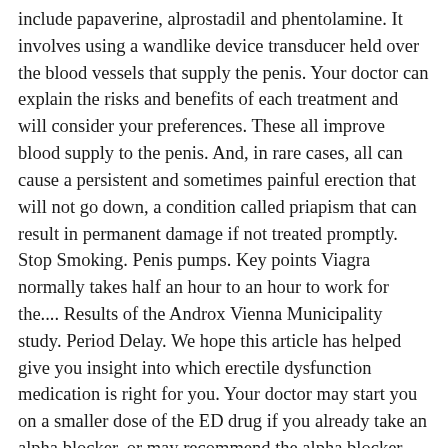include papaverine, alprostadil and phentolamine. It involves using a wandlike device transducer held over the blood vessels that supply the penis. Your doctor can explain the risks and benefits of each treatment and will consider your preferences. These all improve blood supply to the penis. And, in rare cases, all can cause a persistent and sometimes painful erection that will not go down, a condition called priapism that can result in permanent damage if not treated promptly. Stop Smoking. Penis pumps. Key points Viagra normally takes half an hour to an hour to work for the.... Results of the Androx Vienna Municipality study. Period Delay. We hope this article has helped give you insight into which erectile dysfunction medication is right for you. Your doctor may start you on a smaller dose of the ED drug if you already take an alpha blocker, or may recommend the alpha blocker tamsulosin Flomax , which affects blood pressure less. Article by Dr Clare Morrison. You're likely to start by seeing your family doctor or a general practitioner. Discover the best erection pills that are